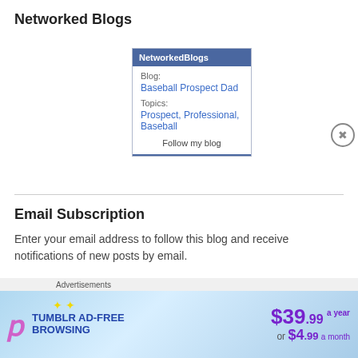Networked Blogs
[Figure (screenshot): NetworkedBlogs widget showing Blog: Baseball Prospect Dad, Topics: Prospect, Professional, Baseball, and a Follow my blog button]
Email Subscription
Enter your email address to follow this blog and receive notifications of new posts by email.
[Figure (infographic): Tumblr Ad-Free Browsing advertisement banner showing $39.99 a year or $4.99 a month with Tumblr logo]